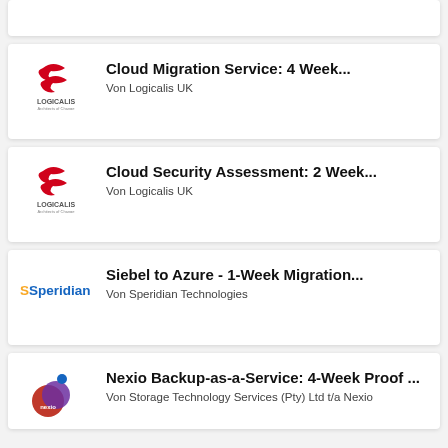[Figure (other): Partial card visible at top of page (cropped)]
Cloud Migration Service: 4 Week...
Von Logicalis UK
Cloud Security Assessment: 2 Week...
Von Logicalis UK
Siebel to Azure - 1-Week Migration...
Von Speridian Technologies
Nexio Backup-as-a-Service: 4-Week Proof ...
Von Storage Technology Services (Pty) Ltd t/a Nexio